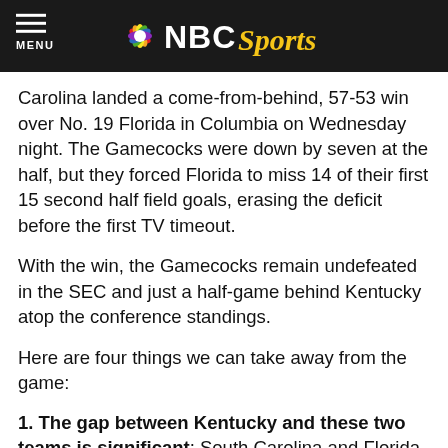NBC Sports
Carolina landed a come-from-behind, 57-53 win over No. 19 Florida in Columbia on Wednesday night. The Gamecocks were down by seven at the half, but they forced Florida to miss 14 of their first 15 second half field goals, erasing the deficit before the first TV timeout.
With the win, the Gamecocks remain undefeated in the SEC and just a half-game behind Kentucky atop the conference standings.
Here are four things we can take away from the game:
1. The gap between Kentucky and these two teams is significant: South Carolina and Florida are the two best teams in the SEC that don't reside in the Commonwealth of Kentucky, and it's abundantly clear after Wednesday night that the difference between the Wildcats and these two teams is pretty large. I'll fully admit that a major